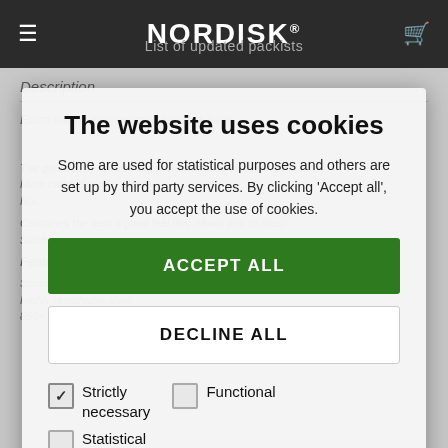NORDISK® List of updated packists
The website uses cookies
Some are used for statistical purposes and others are set up by third party services. By clicking 'Accept all', you accept the use of cookies.
ACCEPT ALL
DECLINE ALL
Strictly necessary (checked)
Functional (unchecked)
Statistical (unchecked)
Marketing (unchecked)
SHOW DETAILS